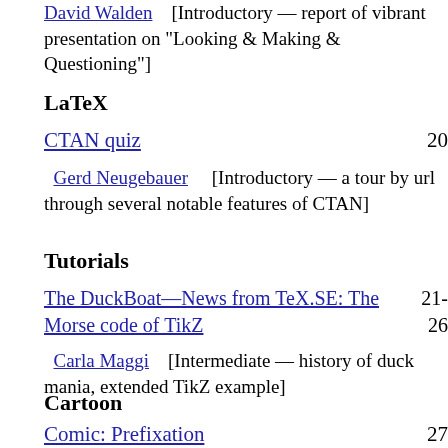David Walden [Introductory — report of vibrant presentation on "Looking & Making & Questioning"]
LaTeX
CTAN quiz 20
Gerd Neugebauer [Introductory — a tour by url through several notable features of CTAN]
Tutorials
The DuckBoat—News from TeX.SE: The Morse code of TikZ 21-26
Carla Maggi [Intermediate — history of duck mania, extended TikZ example]
Cartoon
Comic: Prefixation 27
John Atkinson